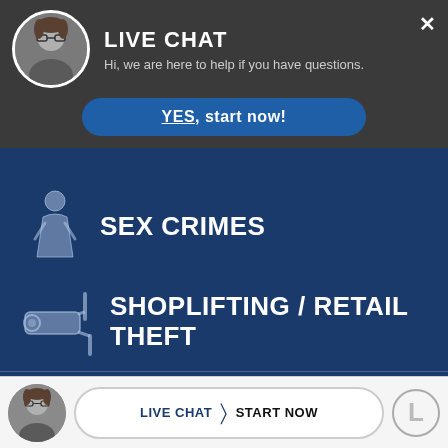[Figure (screenshot): Live chat overlay with a woman's avatar photo, title LIVE CHAT, subtitle text, and a blue YES start now button]
SEX CRIMES
SHOPLIFTING / RETAIL THEFT
STALKING
[Figure (screenshot): Bottom bar with attorney photo avatar, LIVE CHAT | START NOW button, and firm logo]